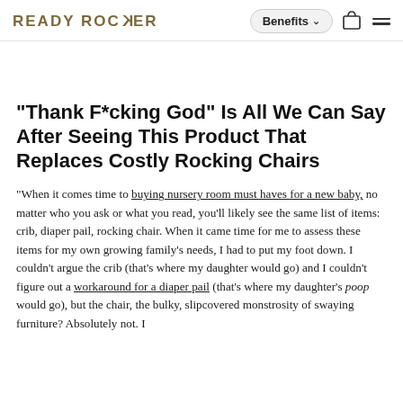READY ROCKER | Benefits ▾ [bag icon] [menu icon]
"Thank F*cking God" Is All We Can Say After Seeing This Product That Replaces Costly Rocking Chairs
"When it comes time to buying nursery room must haves for a new baby, no matter who you ask or what you read, you'll likely see the same list of items: crib, diaper pail, rocking chair. When it came time for me to assess these items for my own growing family's needs, I had to put my foot down. I couldn't argue the crib (that's where my daughter would go) and I couldn't figure out a workaround for a diaper pail (that's where my daughter's poop would go), but the chair, the bulky, slipcovered monstrosity of swaying furniture? Absolutely not. I